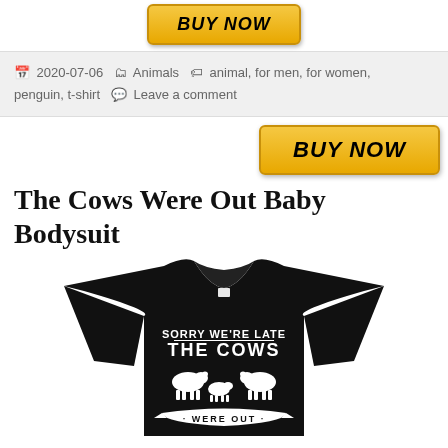[Figure (other): Buy Now button at top center, orange gradient with italic bold text]
2020-07-06  Animals  animal, for men, for women, penguin, t-shirt  Leave a comment
[Figure (other): Buy Now button at right side, orange gradient with italic bold text]
The Cows Were Out Baby Bodysuit
[Figure (photo): Black baby bodysuit/t-shirt with text 'SORRY WE'RE LATE THE COWS WERE OUT' and cow silhouettes in white print]